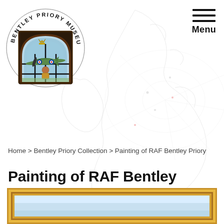[Figure (logo): Bentley Priory Museum circular logo with stained glass window depicting a Spitfire aircraft and pilot, surrounded by text 'BENTLEY PRIORY MUSEUM']
Menu
Home > Bentley Priory Collection > Painting of RAF Bentley Priory
Painting of RAF Bentley Priory
[Figure (photo): Bottom portion of a painting in a gold ornate frame, showing the top edge of the framed artwork with a light blue sky visible inside]